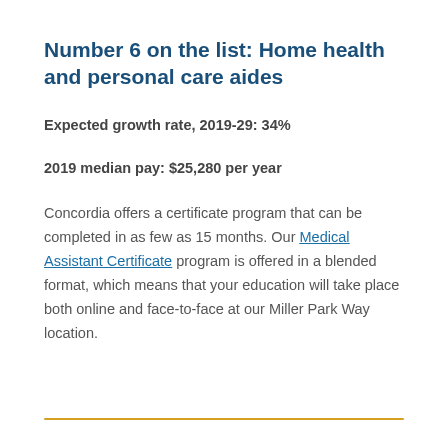Number 6 on the list: Home health and personal care aides
Expected growth rate, 2019-29: 34%
2019 median pay: $25,280 per year
Concordia offers a certificate program that can be completed in as few as 15 months. Our Medical Assistant Certificate program is offered in a blended format, which means that your education will take place both online and face-to-face at our Miller Park Way location.